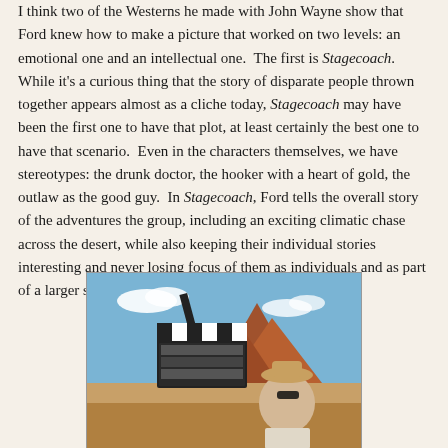I think two of the Westerns he made with John Wayne show that Ford knew how to make a picture that worked on two levels: an emotional one and an intellectual one. The first is Stagecoach. While it's a curious thing that the story of disparate people thrown together appears almost as a cliche today, Stagecoach may have been the first one to have that plot, at least certainly the best one to have that scenario. Even in the characters themselves, we have stereotypes: the drunk doctor, the hooker with a heart of gold, the outlaw as the good guy. In Stagecoach, Ford tells the overall story of the adventures the group, including an exciting climatic chase across the desert, while also keeping their individual stories interesting and never losing focus of them as individuals and as part of a larger story.
[Figure (photo): A photograph taken on a film set in a desert landscape with red rock formations (likely Monument Valley). A film clapperboard is held up in the foreground, and a person wearing a hat and sunglasses is visible in the background. The sky is blue with some clouds.]